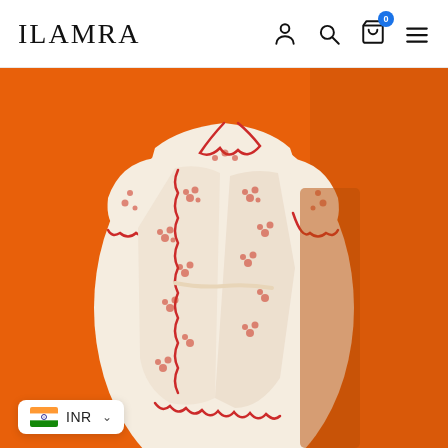ILAMRA
[Figure (photo): A person wearing a white wrap dress with red floral block print pattern and scalloped red trim edges, photographed against a vibrant orange background. The dress has short sleeves with scalloped hem and a wrap-style front closure with belt tie.]
🇮🇳 INR ∨